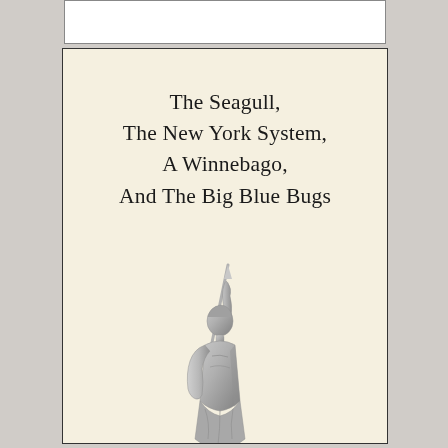[Figure (illustration): Book cover with cream/off-white background. Large serif title text reading 'The Seagull, The New York System, A Winnebago, And The Big Blue Bugs'. Below the title is a silver/grey metallic statue of a figure with one arm raised holding a staff/spear, depicted from approximately the waist up.]